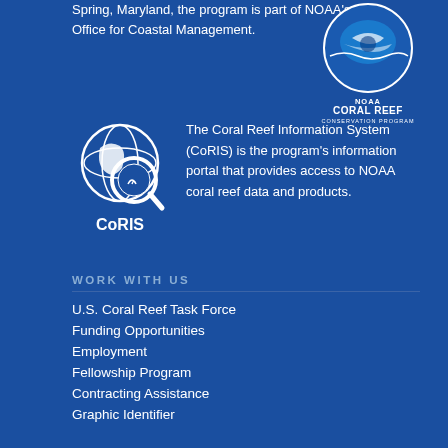Spring, Maryland, the program is part of NOAA's Office for Coastal Management.
[Figure (logo): NOAA Coral Reef Conservation Program logo - circular blue logo with fish and coral imagery, text reads NOAA CORAL REEF CONSERVATION PROGRAM]
[Figure (logo): CoRIS logo - globe with magnifying glass icon, text reads CoRIS]
The Coral Reef Information System (CoRIS) is the program's information portal that provides access to NOAA coral reef data and products.
WORK WITH US
U.S. Coral Reef Task Force
Funding Opportunities
Employment
Fellowship Program
Contracting Assistance
Graphic Identifier
FEATURED STORIES ARCHIVE
[Figure (photo): Underwater photo of a person snorkeling/diving near coral reef, wearing a striped wetsuit and diving mask]